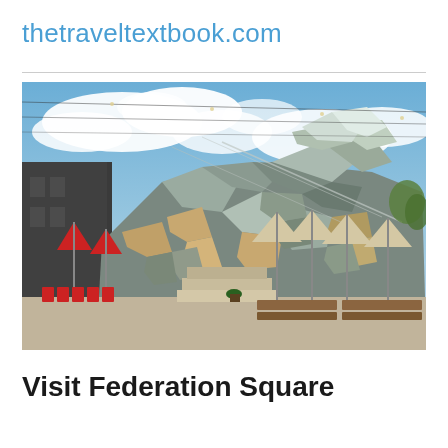thetraveltextbook.com
[Figure (photo): Exterior photograph of Federation Square in Melbourne, Australia. The building features a distinctive geometric facade with angular steel and glass panels in silver and warm tan/ochre tones. The foreground shows an outdoor dining area with beige market umbrellas and wooden bench tables on the right side, and red umbrellas with red chairs on the left side. Stone steps lead up to the building entrance. The sky is dramatic with large white clouds on a blue sky. Power lines are visible overhead.]
Visit Federation Square